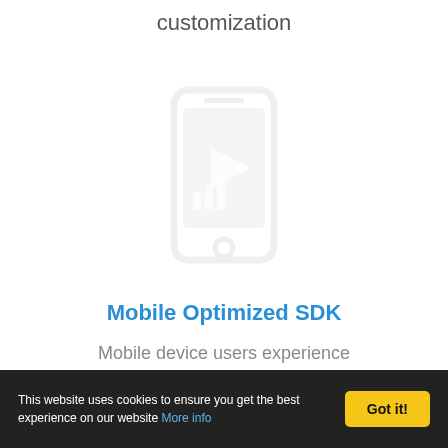customization
[Figure (illustration): Faded/watermark style illustration of a mobile phone device in the center of the page]
Mobile Optimized SDK
Mobile device users experience uncompromising video quality with highly optimized mobile SDKs
This website uses cookies to ensure you get the best experience on our website More info  Got it!